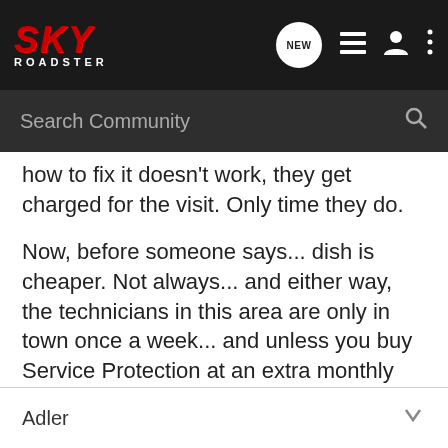SKY ROADSTER — Search Community
how to fix it doesn't work, they get charged for the visit. Only time they do.
Now, before someone says... dish is cheaper. Not always... and either way, the technicians in this area are only in town once a week... and unless you buy Service Protection at an extra monthly cost, you pay up to 80 bucks for a service call. Since you own the dish equipment, if your box dies... you have to by a new one. Cable here, since you rent it, if your box dies... you get a new one... no more no less...
End rant for now... :jester:
Adler